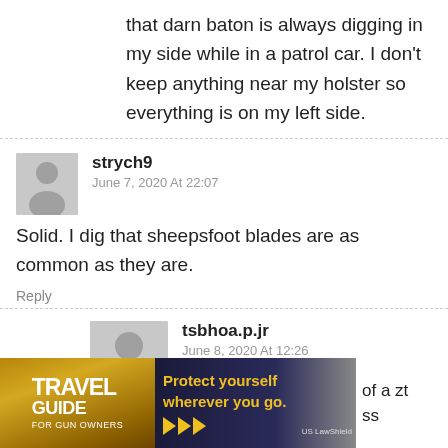that darn baton is always digging in my side while in a patrol car. I don't keep anything near my holster so everything is on my left side.
strych9
June 7, 2020 At 22:07
Solid. I dig that sheepsfoot blades are as common as they are.
Reply
tsbhoa.p.jr
June 8, 2020 At 12:26
yes indeed. sheeps, wharns, drops and even some of the modded tantos. plentiful and useful.
[Figure (infographic): Travel Guide For Gun Owners advertisement banner with tagline 'Protect yourself wherever you go.' and US LawShield branding]
of a zt